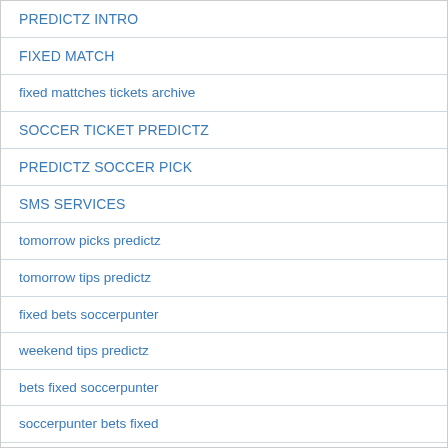PREDICTZ INTRO
FIXED MATCH
fixed mattches tickets archive
SOCCER TICKET PREDICTZ
PREDICTZ SOCCER PICK
SMS SERVICES
tomorrow picks predictz
tomorrow tips predictz
fixed bets soccerpunter
weekend tips predictz
bets fixed soccerpunter
soccerpunter bets fixed
soccerpunter fixed bets
fixed soccerpunter picks
picks soccerpunter fixed